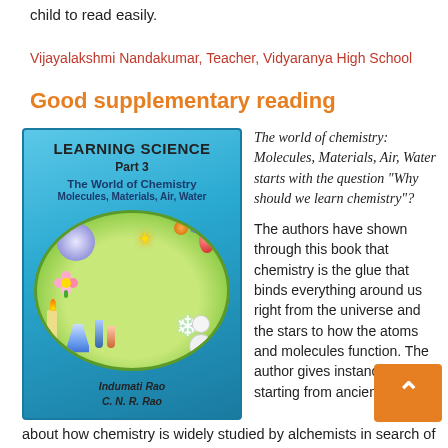child to read easily.
Vijayalakshmi Nandakumar, Teacher, Vidyaranya High School
Good supplementary reading
[Figure (photo): Book cover of 'Learning Science Part 3: The World of Chemistry, Molecules, Materials, Air, Water' by Indumati Rao and C.N.R. Rao, with a teal/blue background and an oval illustration of various science-related images]
The world of chemistry: Molecules, Materials, Air, Water starts with the question “Why should we learn chemistry”?

The authors have shown through this book that chemistry is the glue that binds everything around us right from the universe and the stars to how the atoms and molecules function. The author gives instances starting from ancien
about how chemistry is widely studied by alchemists in search of